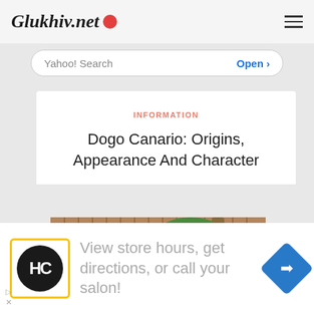Glukhiv.net
Yahoo! Search   Open >
INFORMATION
Dogo Canario: Origins, Appearance And Character
[Figure (photo): Two Dogo Canario dogs outdoors near a wooden fence and tropical vegetation]
View store hours, get directions, or call your salon!